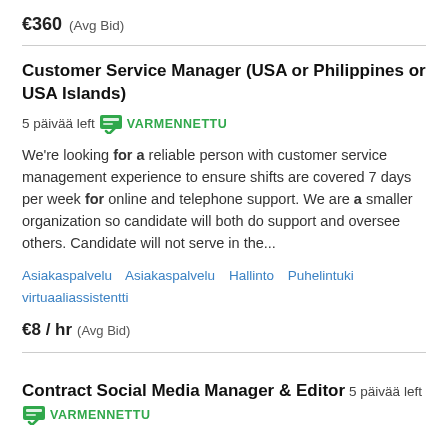€360  (Avg Bid)
Customer Service Manager (USA or Philippines or USA Islands)  5 päivää left  VARMENNETTU
We're looking for a reliable person with customer service management experience to ensure shifts are covered 7 days per week for online and telephone support. We are a smaller organization so candidate will both do support and oversee others. Candidate will not serve in the...
Asiakaspalvelu  Asiakaspalvelu  Hallinto  Puhelintuki  virtuaaliassistentti
€8 / hr  (Avg Bid)
Contract Social Media Manager & Editor  5 päivää left  VARMENNETTU